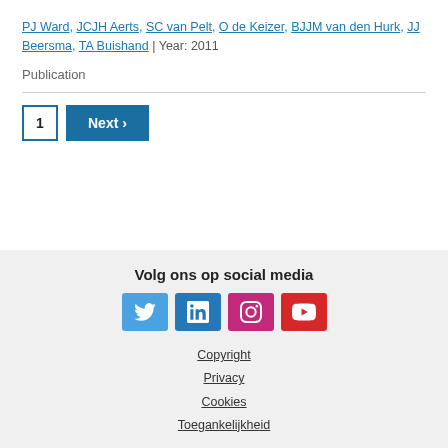PJ Ward, JCJH Aerts, SC van Pelt, O de Keizer, BJJM van den Hurk, JJ Beersma, TA Buishand | Year: 2011
Publication
1  Next ›
Volg ons op social media  [Twitter] [LinkedIn] [Instagram] [YouTube]  Copyright  Privacy  Cookies  Toegankelijkheid